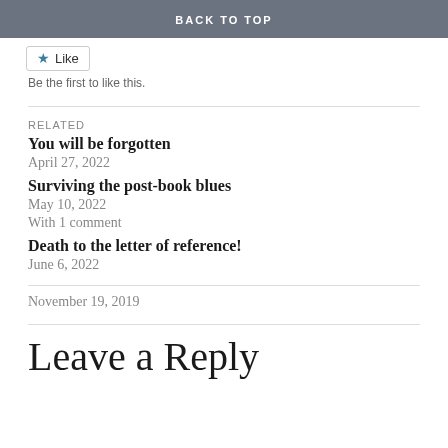BACK TO TOP
Like
Be the first to like this.
RELATED
You will be forgotten
April 27, 2022
Surviving the post-book blues
May 10, 2022
With 1 comment
Death to the letter of reference!
June 6, 2022
November 19, 2019
Leave a Reply